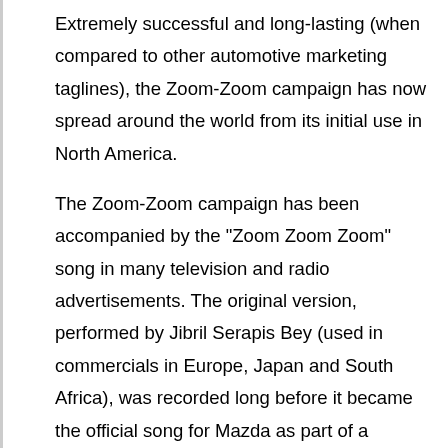Extremely successful and long-lasting (when compared to other automotive marketing taglines), the Zoom-Zoom campaign has now spread around the world from its initial use in North America.
The Zoom-Zoom campaign has been accompanied by the "Zoom Zoom Zoom" song in many television and radio advertisements. The original version, performed by Jibril Serapis Bey (used in commercials in Europe, Japan and South Africa), was recorded long before it became the official song for Mazda as part of a soundtrack to the movie Only The Strong (released in 1993). The Serapis Bey version is a cover of a traditional Capoeira song, called "Capoeira Mata Um". In 2010, their current slogan is "Zoom Zoom Forever". The longer slogan (Used in TV ads) is "Zoom